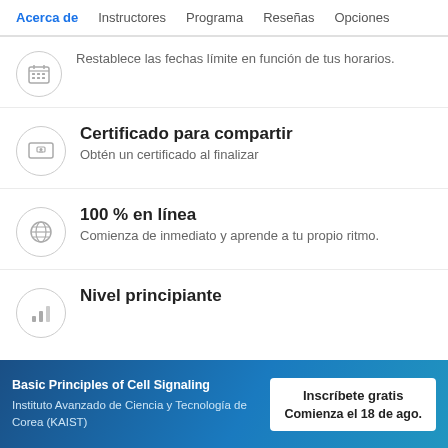Acerca de  Instructores  Programa  Reseñas  Opciones
Restablece las fechas límite en función de tus horarios.
Certificado para compartir
Obtén un certificado al finalizar
100 % en línea
Comienza de inmediato y aprende a tu propio ritmo.
Nivel principiante
Basic Principles of Cell Signaling | Instituto Avanzado de Ciencia y Tecnología de Corea (KAIST) | Inscríbete gratis | Comienza el 18 de ago.